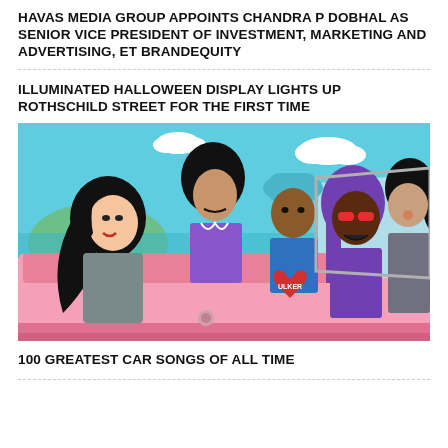HAVAS MEDIA GROUP APPOINTS CHANDRA P DOBHAL AS SENIOR VICE PRESIDENT OF INVESTMENT, MARKETING AND ADVERTISING, ET BRANDEQUITY
ILLUMINATED HALLOWEEN DISPLAY LIGHTS UP ROTHSCHILD STREET FOR THE FIRST TIME
[Figure (illustration): Colorful retro illustration of five characters riding in a pink convertible car against a blue sky with clouds and water in the background. Characters include a woman with long black hair, a man in purple ruffled shirt, a man in a teal hat, a woman with purple hair and red sunglasses, and a man in gray. A red heart shape with 'ULKER' text is visible.]
100 GREATEST CAR SONGS OF ALL TIME